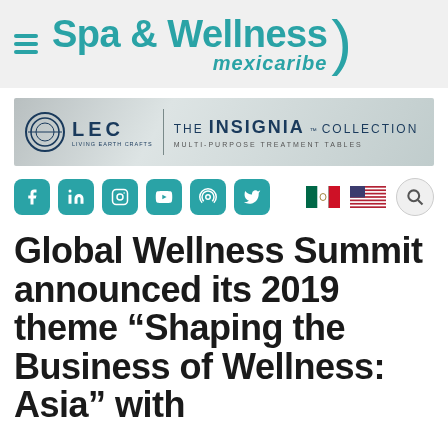Spa & Wellness mexicaribe
[Figure (other): LEC - THE INSIGNIA COLLECTION banner advertisement. Multi-purpose treatment tables.]
[Figure (other): Social media icons row (Facebook, LinkedIn, Instagram, YouTube, Podcast, Twitter/X), Mexican flag, US flag, and search icon]
Global Wellness Summit announced its 2019 theme “Shaping the Business of Wellness: Asia” with